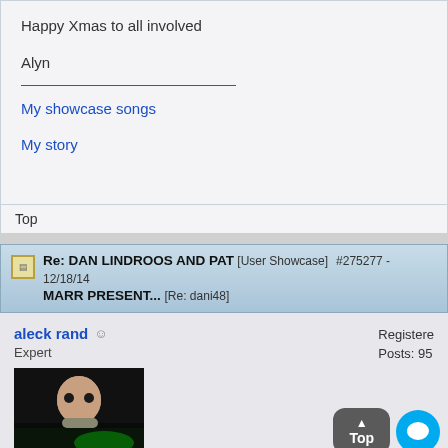Happy Xmas to all involved
Alyn
My showcase songs
My story
Top
Re: DAN LINDROOS AND PAT [User Showcase] #275277 - 12/18/14 MARR PRESENT... [Re: dani48]
aleck rand Expert
Registered Posts: 95